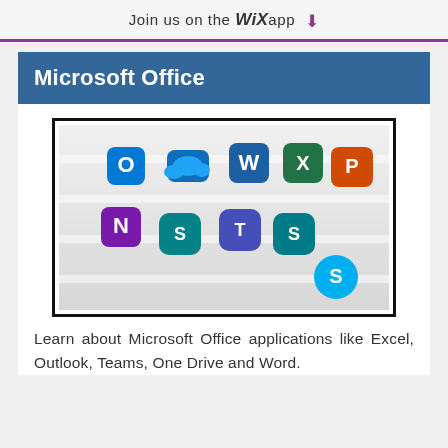Join us on the WiX app ⬇
Microsoft Office
[Figure (photo): Microsoft Office application icons arranged on a light surface, including Outlook, OneDrive, Word, Excel, PowerPoint, OneNote, SharePoint, Teams, Sway, and Skype icons.]
Learn about Microsoft Office applications like Excel, Outlook, Teams, One Drive and Word.